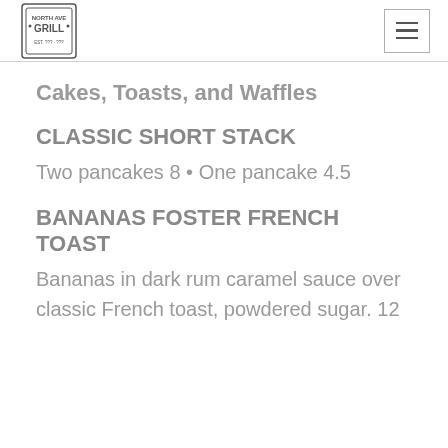North Ave Grill
Cakes, Toasts, and Waffles
CLASSIC SHORT STACK
Two pancakes 8 • One pancake 4.5
BANANAS FOSTER FRENCH TOAST
Bananas in dark rum caramel sauce over classic French toast, powdered sugar. 12